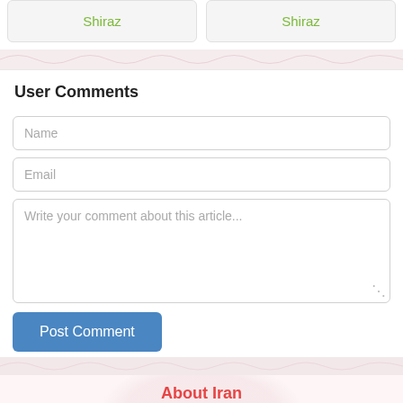Shiraz
Shiraz
User Comments
Name
Email
Write your comment about this article...
Post Comment
About Iran
About Kerman
About Isfahan